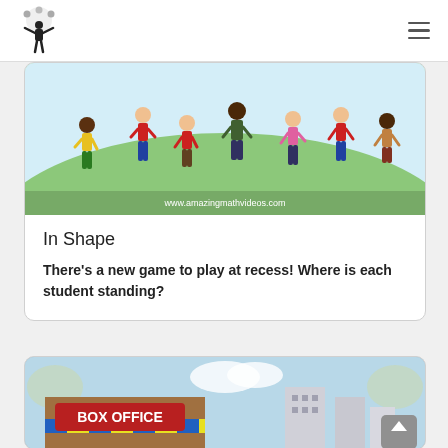Amazing Math Videos logo and navigation
[Figure (illustration): Cartoon illustration of children standing on a playground with a green hill background. Website URL www.amazingmathvideos.com visible at bottom. Logo and social media icons visible.]
In Shape
There's a new game to play at recess! Where is each student standing?
[Figure (illustration): Illustration of a Box Office building with colorful striped awning, trees, and city buildings in the background. A scroll-to-top arrow button is visible in the bottom right.]